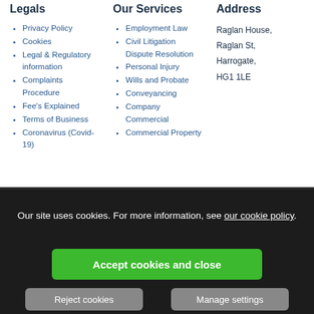Legals
Privacy Policy
Cookies
Legal & Regulatory information
Complaints Procedure
Fee's Explained
Terms of Business
Coronavirus (Covid-19)
Client Visiting
Our Services
Employment Law
Civil Litigation Dispute Resolution
Personal Injury
Wills and Probate
Conveyancing
Company Commercial
Commercial Property
Address
Raglan House, Raglan St, Harrogate, HG1 1LE
Our site uses cookies. For more information, see our cookie policy.
Accept cookies and close
Reject cookies
Manage settings